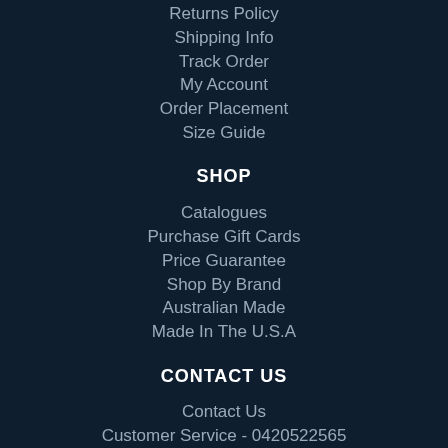Returns Policy
Shipping Info
Track Order
My Account
Order Placement
Size Guide
SHOP
Catalogues
Purchase Gift Cards
Price Guarantee
Shop By Brand
Australian Made
Made In The U.S.A
CONTACT US
Contact Us
Customer Service - 0420522565